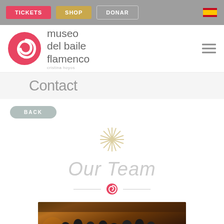TICKETS | SHOP | DONAR
[Figure (logo): Museo del Baile Flamenco logo with red spiral C and text]
Contact
BACK
[Figure (illustration): Decorative starburst / asterisk ornament in gold/beige]
Our Team
[Figure (photo): Group photo of the museum team dressed in black, in a stone-walled venue]